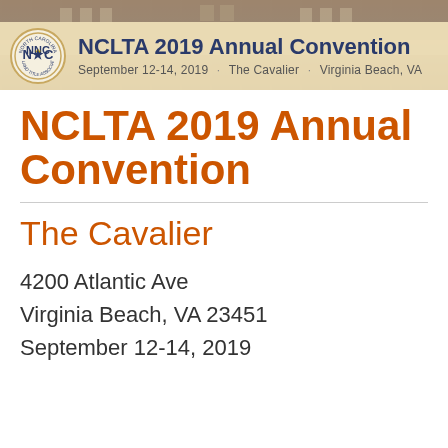[Figure (illustration): NCLTA 2019 Annual Convention banner with building photo background and logo. Header reads: NCLTA 2019 Annual Convention, September 12-14, 2019 · The Cavalier · Virginia Beach, VA]
NCLTA 2019 Annual Convention
The Cavalier
4200 Atlantic Ave
Virginia Beach, VA 23451
September 12-14, 2019